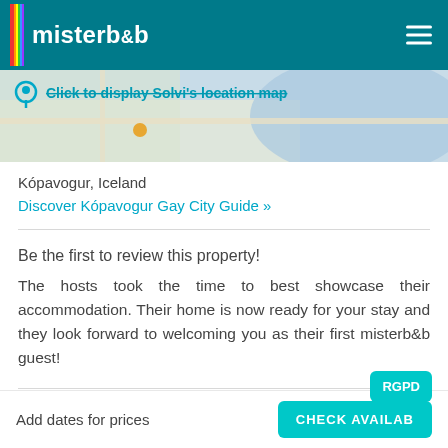misterb&b
[Figure (map): Blurred map showing location with pin icon and text 'Click to display Solvi's location map']
Kópavogur, Iceland
Discover Kópavogur Gay City Guide »
Be the first to review this property!
The hosts took the time to best showcase their accommodation. Their home is now ready for your stay and they look forward to welcoming you as their first misterb&b guest!
Your host: Solvi
Add dates for prices
CHECK AVAILAB